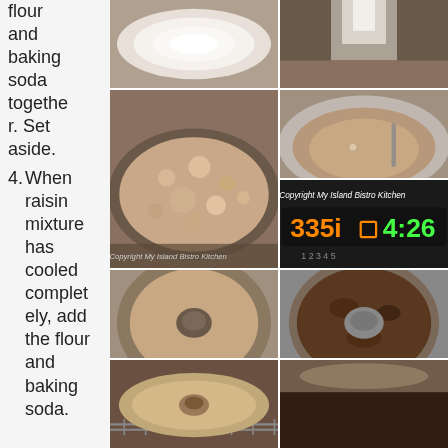flour and baking soda together. Set aside.
4. When raisin mixture has cooled completely, add the flour and baking soda.
[Figure (photo): Bowl of white flour from above]
[Figure (photo): Flour being poured or sifted, motion blur]
[Figure (photo): Crumbly dry mixture in a bowl, Copyright My Island Bistro Kitchen watermark]
[Figure (photo): Batter mixture in a silver mixing bowl with spoon]
[Figure (photo): Bundt pan filled with batter]
[Figure (photo): Oven display showing 335 degrees and 4:26 timer, Copyright My Island Bistro Kitchen]
[Figure (photo): Bundt pan in oven on rack]
[Figure (photo): Baked dark brown cake in bundt pan]
[Figure (photo): Partial view of baked cake or decoration bottom]